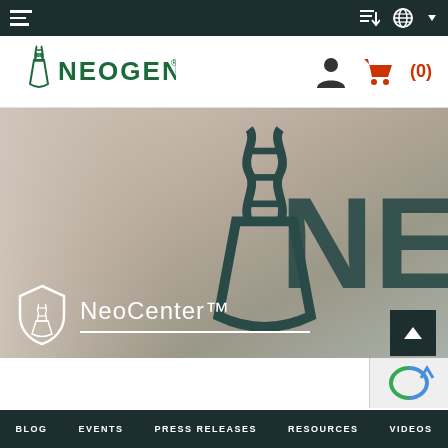Neogen website navigation header with hamburger menu, globe and sort icons on top dark bar
[Figure (logo): Neogen logo with DNA helix and flask graphic in green, and NEOGEN text]
[Figure (photo): Hero image showing a close-up of a card or tablet embossed with the Neogen logo mark (DNA flask symbol and NEO text) in dark teal/green on a warm grey background]
NeoCenter™
BLOG    EVENTS    PRESS RELEASES    RESOURCES    VIDEOS